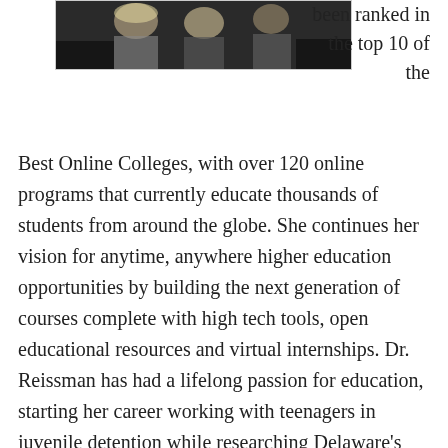[Figure (photo): Black and white photo of a group of people including a person with blonde hair]
been ranked in the top 10 of the Best Online Colleges, with over 120 online programs that currently educate thousands of students from around the globe. She continues her vision for anytime, anywhere higher education opportunities by building the next generation of courses complete with high tech tools, open educational resources and virtual internships. Dr. Reissman has had a lifelong passion for education, starting her career working with teenagers in juvenile detention while researching Delaware's juvenile recidivism rate at the Department of Crime and Justice. She then became an elementary school educator, teaching in the Red Clay and Brandywine school districts. During her tenure as a third grade